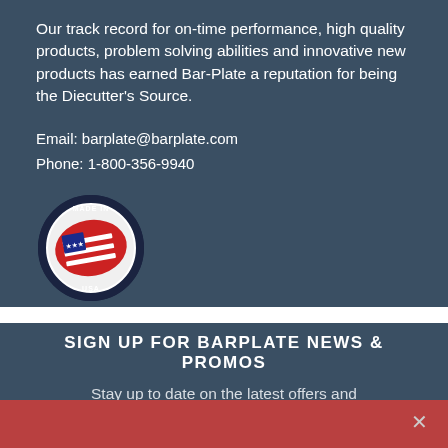Our track record for on-time performance, high quality products, problem solving abilities and innovative new products has earned Bar-Plate a reputation for being the Diecutter's Source.
Email: barplate@barplate.com
Phone: 1-800-356-9940
[Figure (logo): Made in USA circular badge with American flag]
SIGN UP FOR BARPLATE NEWS & PROMOS
Stay up to date on the latest offers and announcements from the Barplate team.
Name (input field placeholder)